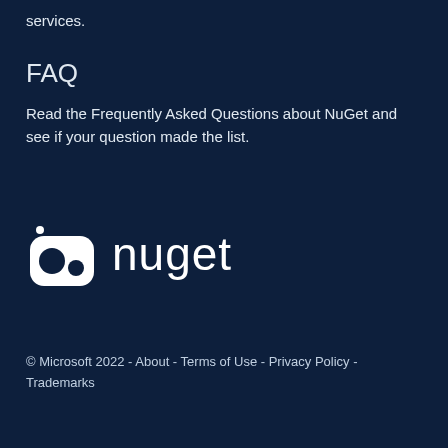services.
FAQ
Read the Frequently Asked Questions about NuGet and see if your question made the list.
[Figure (logo): NuGet logo with icon and text 'nuget' in white on dark navy background]
© Microsoft 2022 - About - Terms of Use - Privacy Policy - Trademarks